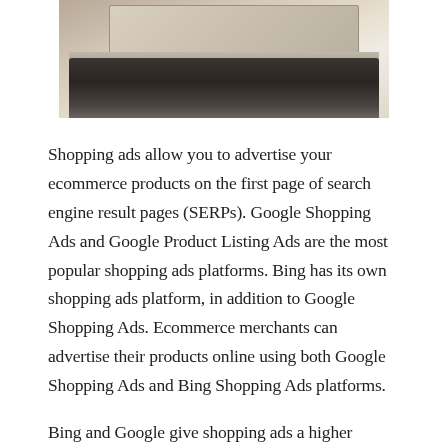[Figure (photo): Photo of a person's hands typing on a laptop keyboard, viewed from above at an angle, showing the keyboard and part of the laptop screen.]
Shopping ads allow you to advertise your ecommerce products on the first page of search engine result pages (SERPs). Google Shopping Ads and Google Product Listing Ads are the most popular shopping ads platforms. Bing has its own shopping ads platform, in addition to Google Shopping Ads. Ecommerce merchants can advertise their products online using both Google Shopping Ads and Bing Shopping Ads platforms.
Bing and Google give shopping ads a higher